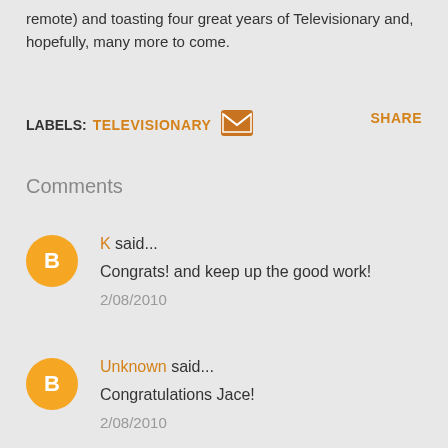remote) and toasting four great years of Televisionary and, hopefully, many more to come.
LABELS: TELEVISIONARY [email icon] SHARE
Comments
K said... Congrats! and keep up the good work! 2/08/2010
Unknown said... Congratulations Jace! 2/08/2010